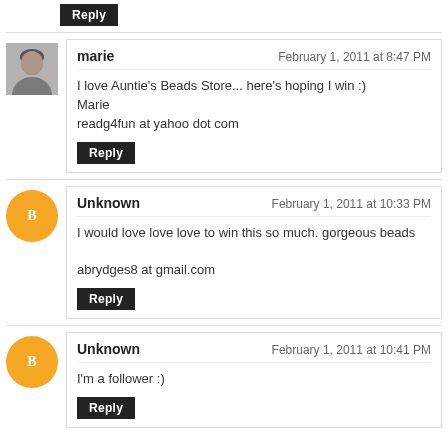Reply
marie — February 1, 2011 at 8:47 PM
I love Auntie's Beads Store... here's hoping I win :)
Marie
readg4fun at yahoo dot com
Reply
Unknown — February 1, 2011 at 10:33 PM
I would love love love to win this so much. gorgeous beads

abrydges8 at gmail.com
Reply
Unknown — February 1, 2011 at 10:41 PM
I'm a follower :)
Reply